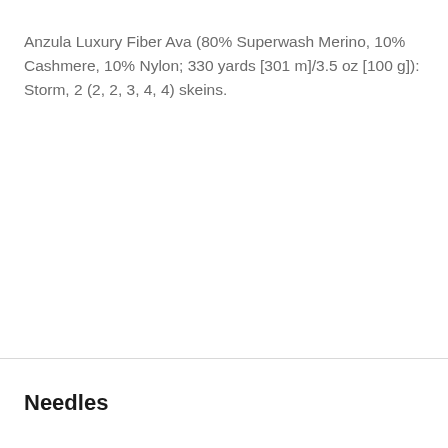Anzula Luxury Fiber Ava (80% Superwash Merino, 10% Cashmere, 10% Nylon; 330 yards [301 m]/3.5 oz [100 g]): Storm, 2 (2, 2, 3, 4, 4) skeins.
Needles